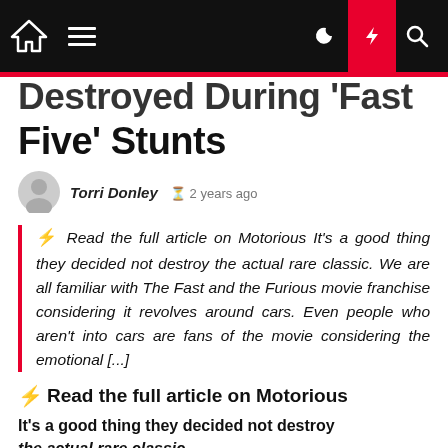Destroyed During 'Fast Five' Stunts
Torri Donley  2 years ago
⚡ Read the full article on Motorious It's a good thing they decided not destroy the actual rare classic. We are all familiar with The Fast and the Furious movie franchise considering it revolves around cars. Even people who aren't into cars are fans of the movie considering the emotional [...]
⚡ Read the full article on Motorious
It's a good thing they decided not destroy the actual rare classic.